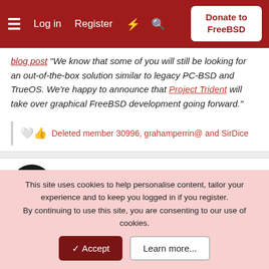Log in  Register  Donate to FreeBSD
blog post "We know that some of you will still be looking for an out-of-the-box solution similar to legacy PC-BSD and TrueOS. We're happy to announce that Project Trident will take over graphical FreeBSD development going forward."
Deleted member 30996, grahamperrin@ and SirDice
SirDice
Staff member  Administrator  Moderator
Feb 19, 2019  #58
I wasn't aware of that, I'll keep that in mind the
This site uses cookies to help personalise content, tailor your experience and to keep you logged in if you register.
By continuing to use this site, you are consenting to our use of cookies.
✓ Accept    Learn more...